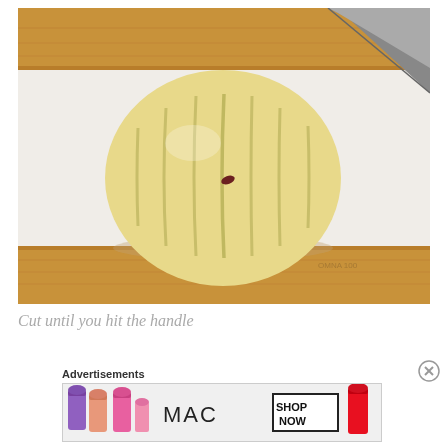[Figure (photo): A peeled potato or similar round vegetable/fruit sliced into vertical sections but held together, placed on a wooden cutting board. A large knife blade is visible in the upper right corner. There is a small dark spot near the center of the food item.]
Cut until you hit the handle
Advertisements
[Figure (photo): MAC cosmetics advertisement banner showing colorful lipsticks on the left side, MAC logo in the center, a 'SHOP NOW' box, and a red lipstick on the right.]